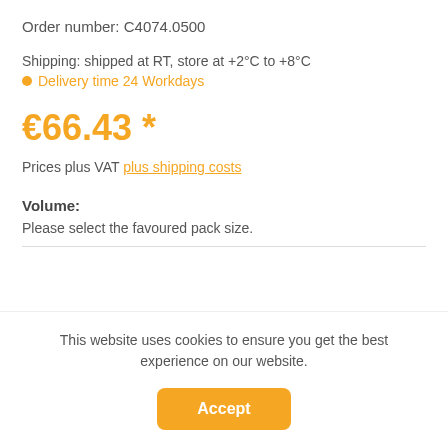Order number: C4074.0500
Shipping: shipped at RT, store at +2°C to +8°C
Delivery time 24 Workdays
€66.43 *
Prices plus VAT plus shipping costs
Volume:
Please select the favoured pack size.
This website uses cookies to ensure you get the best experience on our website.
Accept